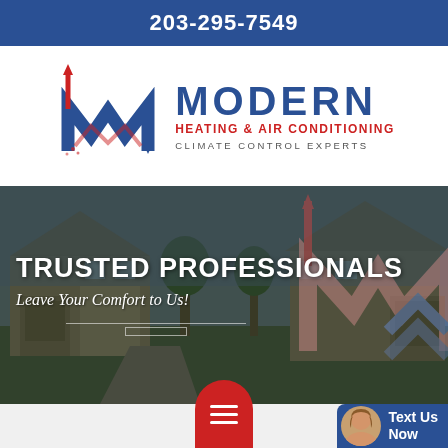203-295-7549
[Figure (logo): Modern Heating & Air Conditioning logo with stylized M mark in red and blue arrows, company name in navy blue, HEATING & AIR CONDITIONING in red, CLIMATE CONTROL EXPERTS in gray]
[Figure (photo): Hero banner with background photo of residential house, large overlay text TRUSTED PROFESSIONALS and subtitle Leave Your Comfort to Us!, with Modern company M logo watermark on the right]
[Figure (infographic): Bottom bar with red rounded hamburger menu button and blue Text Us Now button with female avatar]